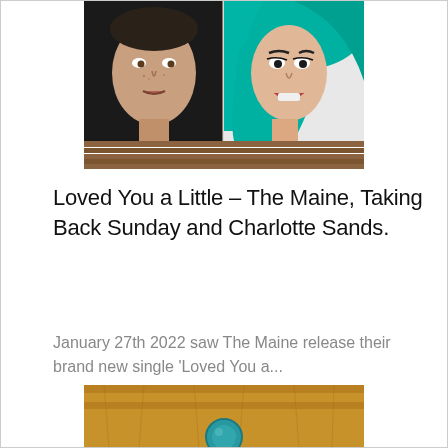[Figure (photo): Split composite photo: left half shows a man with short hair against a dark background, right half shows a woman with teal/turquoise wavy hair with mouth open, separated by a vertical line/mirror. Below are wooden slats.]
Loved You a Little – The Maine, Taking Back Sunday and Charlotte Sands.
January 27th 2022 saw The Maine release their brand new single 'Loved You a...
[Figure (photo): Partial photo showing a wooden surface with a small blue/teal circular object visible at the bottom of the page.]